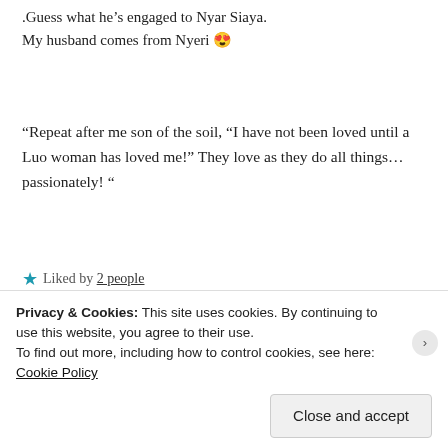.Guess what he’s engaged to Nyar Siaya.
My husband comes from Nyeri 😍
“Repeat after me son of the soil, “I have not been loved until a Luo woman has loved me!” They love as they do all things… passionately! “
Liked by 2 people
cjgicheru
26 Feb 2019 at 6:02 am
Privacy & Cookies: This site uses cookies. By continuing to use this website, you agree to their use.
To find out more, including how to control cookies, see here: Cookie Policy